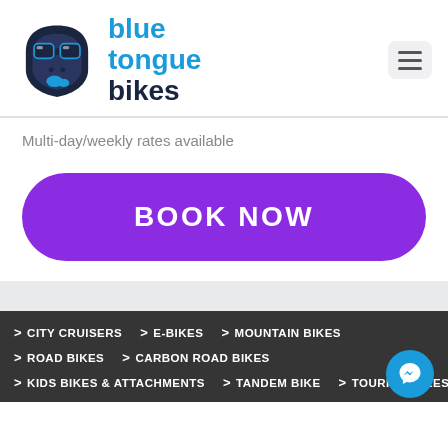[Figure (logo): Blue Tongue Bikes logo — cartoon face with sunglasses and blue tongue icon, next to text 'blue tongue bikes']
Multi-day/weekly rates available
BOOK NOW
> CITY CRUISERS
> E-BIKES
> MOUNTAIN BIKES
> ROAD BIKES
> CARBON ROAD BIKES
> KIDS BIKES & ATTACHMENTS
> TANDEM BIKE
> TOURING BIKES